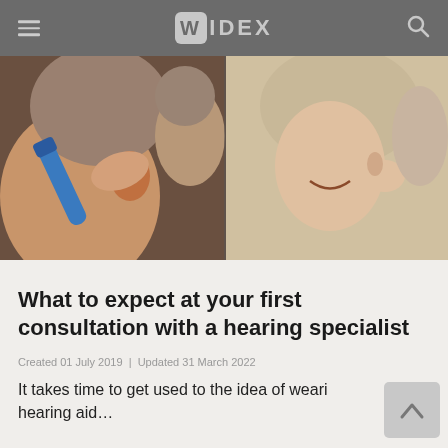WIDEX
[Figure (photo): Medical consultation scene: a hearing specialist examining a patient's ear with an otoscope (close-up on left), and a smiling woman touching her ear on the right]
What to expect at your first consultation with a hearing specialist
Created 01 July 2019  |  Updated 31 March 2022
It takes time to get used to the idea of wearing a hearing aid...